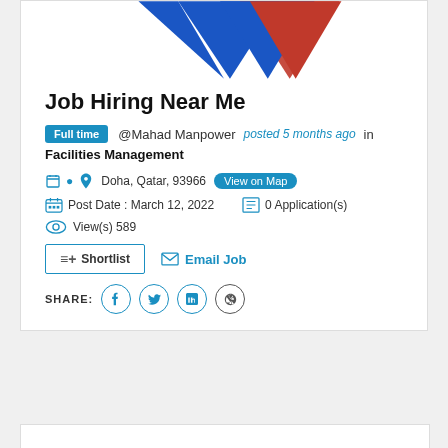[Figure (illustration): Partial view of triangular shapes in blue and red on white background, resembling a logo banner]
Job Hiring Near Me
Full time @Mahad Manpower posted 5 months ago in Facilities Management
Doha, Qatar, 93966 View on Map
Post Date : March 12, 2022   0 Application(s)
View(s) 589
≡+ Shortlist   ✉ Email Job
SHARE: f  t  in  +